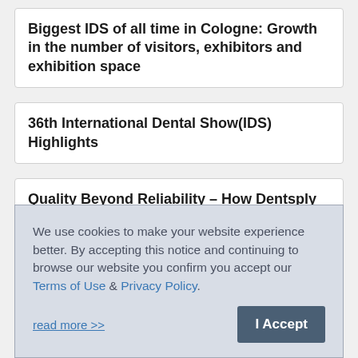Biggest IDS of all time in Cologne: Growth in the number of visitors, exhibitors and exhibition space
36th International Dental Show(IDS) Highlights
Quality Beyond Reliability – How Dentsply Sirona Defines Experience For Treatment Centers
All... f... IDS 2011
We use cookies to make your website experience better. By accepting this notice and continuing to browse our website you confirm you accept our Terms of Use & Privacy Policy.

read more >>    I Accept